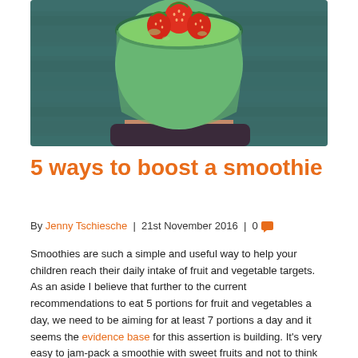[Figure (photo): A hand holding a glass of green smoothie topped with fresh strawberries, photographed from above against a dark teal wooden background.]
5 ways to boost a smoothie
By Jenny Tschiesche | 21st November 2016 | 0
Smoothies are such a simple and useful way to help your children reach their daily intake of fruit and vegetable targets. As an aside I believe that further to the current recommendations to eat 5 portions for fruit and vegetables a day, we need to be aiming for at least 7 portions a day and it seems the evidence base for this assertion is building. It's very easy to jam-pack a smoothie with sweet fruits and not to think about vegetables, proteins, fats and added vitamins. That's where vegetables and a smoothie booster can greatly increase the nutritional value of your smoothie. In fact I've created a 4 step formula to building a nutritionally...